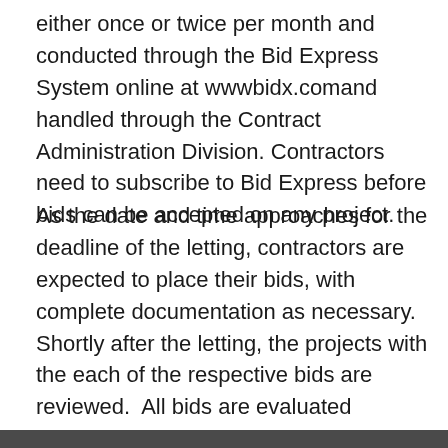either once or twice per month and conducted through the Bid Express System online at wwwbidx.comand handled through the Contract Administration Division. Contractors need to subscribe to Bid Express before bids can be accepted on any project.
As the date and time approaches for the deadline of the letting, contractors are expected to place their bids, with complete documentation as necessary.  Shortly after the letting, the projects with the each of the respective bids are reviewed.  All bids are evaluated thoroughly for competitiveness and deemed acceptable through guidelines as approved by policy, reviewed and approved by the FHWA. Award of the contracts is made based on recommendation by our Awards Committee based on the results that evaluation and approval by the Commissioner. Projects are typically awarded to the lowest bidder which